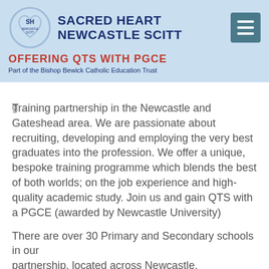[Figure (logo): Sacred Heart Newcastle SCITT logo — heart shape with SH initials, light blue background header panel]
SACRED HEART NEWCASTLE SCITT
OFFERING QTS WITH PGCE
Part of the Bishop Bewick Catholic Education Trust
Training partnership in the Newcastle and Gateshead area.  We are passionate about recruiting, developing and employing the very best graduates into the profession. We offer a unique, bespoke training programme which blends the best of both worlds; on the job experience and high-quality academic study. Join us and gain QTS with a PGCE (awarded by Newcastle University)
There are over 30 Primary and Secondary schools in our partnership, located across Newcastle, Gateshead and nearby towns within County Durham and Northumberland.